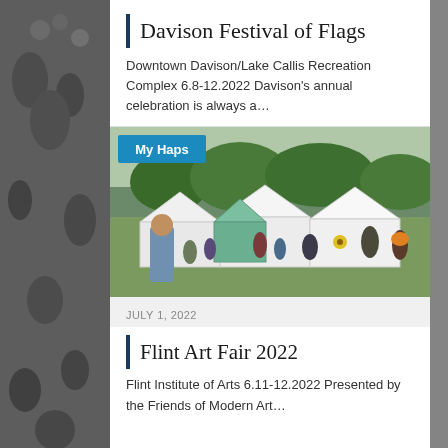Davison Festival of Flags
Downtown Davison/Lake Callis Recreation Complex 6.8-12.2022 Davison's annual celebration is always a…
[Figure (photo): Outdoor art fair with white vendor tents on a green lawn, crowds of people walking through, trees in background. Badge overlay reads 'My Haps'.]
JULY 1, 2022
Flint Art Fair 2022
Flint Institute of Arts 6.11-12.2022 Presented by the Friends of Modern Art…